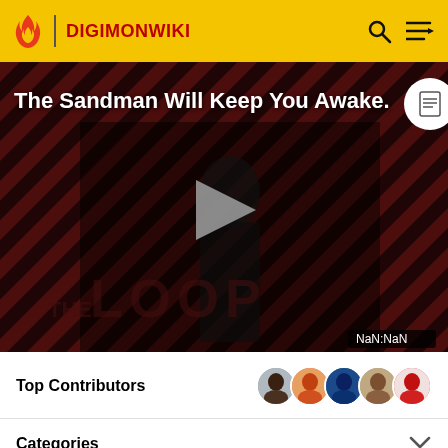DIGIMONWIKI
[Figure (screenshot): Video thumbnail for 'The Sandman Will Keep You Awake' on The Loop, showing a dark-clad figure against red-black diagonal stripes, with a play button in the center and NaN:NaN time display]
Top Contributors
Categories
Other Languages: